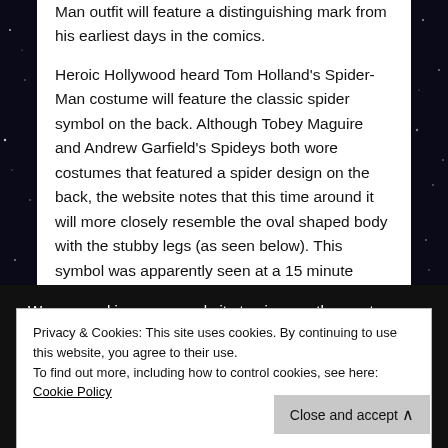Man outfit will feature a distinguishing mark from his earliest days in the comics.
Heroic Hollywood heard Tom Holland's Spider-Man costume will feature the classic spider symbol on the back. Although Tobey Maguire and Andrew Garfield's Spideys both wore costumes that featured a spider design on the back, the website notes that this time around it will more closely resemble the oval shaped body with the stubby legs (as seen below). This symbol was apparently seen at a 15 minute
We use cookies on our website to give you the most
Privacy & Cookies: This site uses cookies. By continuing to use this website, you agree to their use.
To find out more, including how to control cookies, see here: Cookie Policy